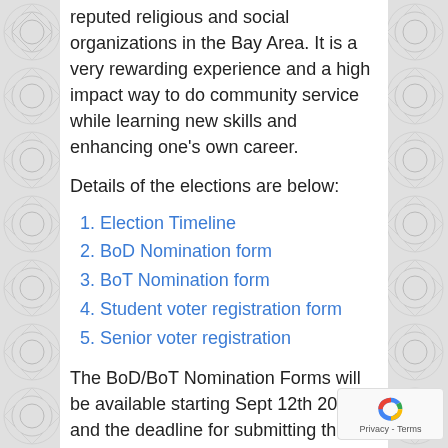reputed religious and social organizations in the Bay Area. It is a very rewarding experience and a high impact way to do community service while learning new skills and enhancing one's own career.
Details of the elections are below:
1. Election Timeline
2. BoD Nomination form
3. BoT Nomination form
4. Student voter registration form
5. Senior voter registration
The BoD/BoT Nomination Forms will be available starting Sept 12th 2021 and the deadline for submitting the signed nominations forms is Oct 10th 2021 by 9 PM.